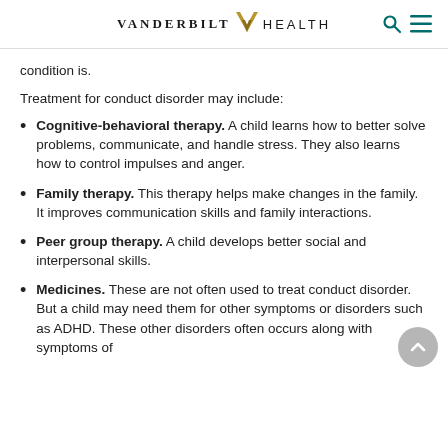VANDERBILT HEALTH
condition is.
Treatment for conduct disorder may include:
Cognitive-behavioral therapy. A child learns how to better solve problems, communicate, and handle stress. They also learns how to control impulses and anger.
Family therapy. This therapy helps make changes in the family. It improves communication skills and family interactions.
Peer group therapy. A child develops better social and interpersonal skills.
Medicines. These are not often used to treat conduct disorder. But a child may need them for other symptoms or disorders such as ADHD. These other disorders often occurs along with symptoms of